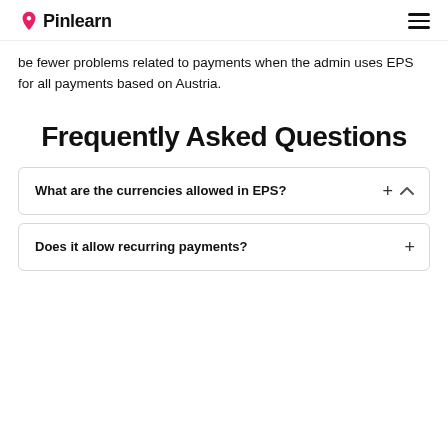Pinlearn
be fewer problems related to payments when the admin uses EPS for all payments based on Austria.
Frequently Asked Questions
What are the currencies allowed in EPS?
Does it allow recurring payments?